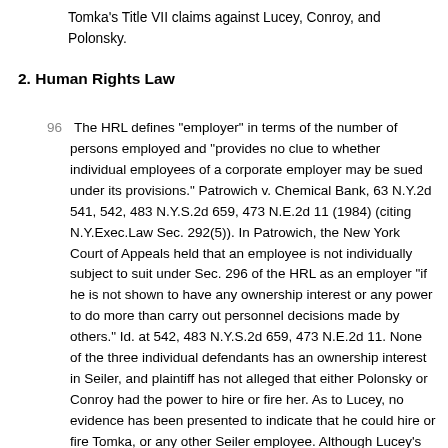Tomka's Title VII claims against Lucey, Conroy, and Polonsky.
2. Human Rights Law
96  The HRL defines "employer" in terms of the number of persons employed and "provides no clue to whether individual employees of a corporate employer may be sued under its provisions." Patrowich v. Chemical Bank, 63 N.Y.2d 541, 542, 483 N.Y.S.2d 659, 473 N.E.2d 11 (1984) (citing N.Y.Exec.Law Sec. 292(5)). In Patrowich, the New York Court of Appeals held that an employee is not individually subject to suit under Sec. 296 of the HRL as an employer "if he is not shown to have any ownership interest or any power to do more than carry out personnel decisions made by others." Id. at 542, 483 N.Y.S.2d 659, 473 N.E.2d 11. None of the three individual defendants has an ownership interest in Seiler, and plaintiff has not alleged that either Polonsky or Conroy had the power to hire or fire her. As to Lucey, no evidence has been presented to indicate that he could hire or fire Tomka, or any other Seiler employee. Although Lucey's position as district manager gave him supervisory control over Tomka's worksite and would presumably enable him to review and comment on her performance in Rochester, it was Ray Taylor, the director of the Starts and Surveys team, who had assigned Tomka to Rochester and who